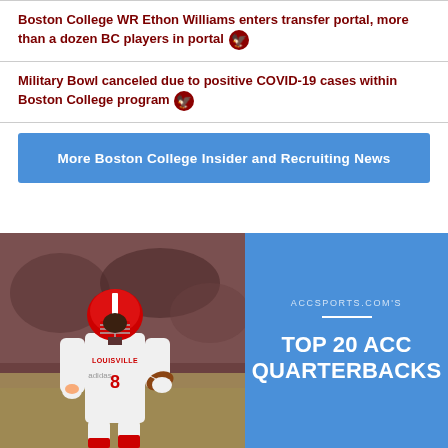Boston College WR Ethon Williams enters transfer portal, more than a dozen BC players in portal 🦅
Military Bowl canceled due to positive COVID-19 cases within Boston College program 🦅
More Boston College Insider and Recruiting News
[Figure (photo): Left half: photo of a Louisville football player (#8) in white jersey and red helmet running with a football. Right half: blue background with text 'ACCSPORTS.COM'S TOP 20 ACC QUARTERBACKS']